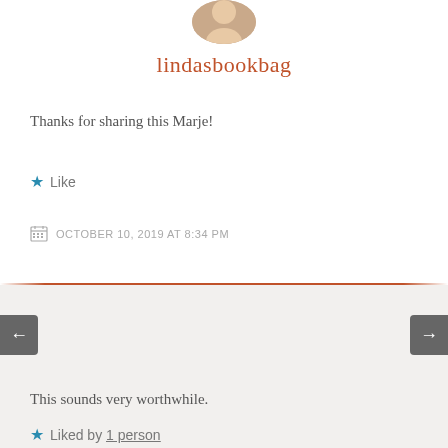[Figure (photo): Circular avatar photo of a woman, cropped at top of page]
lindasbookbag
Thanks for sharing this Marje!
★ Like
OCTOBER 10, 2019 AT 8:34 PM
[Figure (photo): Circular avatar photo of Rosemary Goodacre, a woman with short dark hair]
Rosemary Goodacre
This sounds very worthwhile.
★ Liked by 1 person